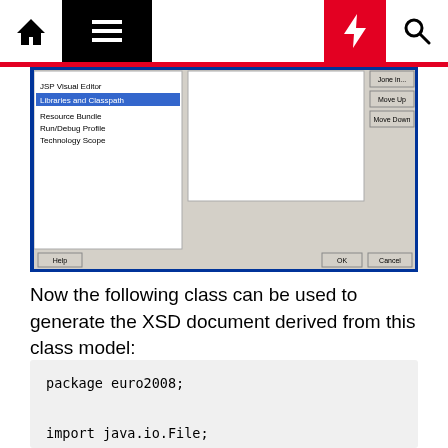Navigation bar with home, menu, lightning, and search icons
[Figure (screenshot): Eclipse IDE project properties dialog showing Libraries and Classpath selected in the left panel, with Move Up and Move Down buttons on the right, and Help, OK, Cancel buttons at the bottom]
Now the following class can be used to generate the XSD document derived from this class model:
package euro2008;

import java.io.File;
import java.io.IOException;

import javax.xml.bind.JAXBContext;
import javax.xml.bind.JAXBException;